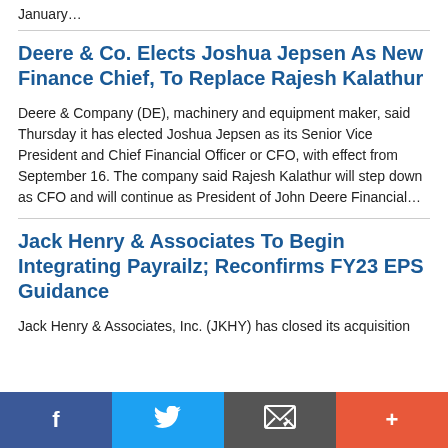January…
Deere & Co. Elects Joshua Jepsen As New Finance Chief, To Replace Rajesh Kalathur
Deere & Company (DE), machinery and equipment maker, said Thursday it has elected Joshua Jepsen as its Senior Vice President and Chief Financial Officer or CFO, with effect from September 16. The company said Rajesh Kalathur will step down as CFO and will continue as President of John Deere Financial…
Jack Henry & Associates To Begin Integrating Payrailz; Reconfirms FY23 EPS Guidance
Jack Henry & Associates, Inc. (JKHY) has closed its acquisition